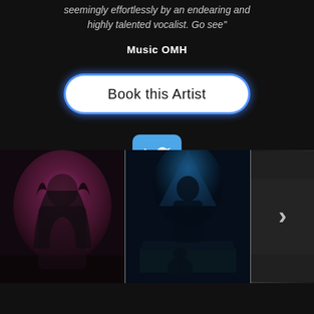seemingly effortlessly by an endearing and highly talented vocalist. Go see"
Music OMH
Book this Artist
[Figure (logo): Twitter bird logo icon in white on a blue rounded-square background]
[Figure (photo): Female vocalist with long dark hair, wearing dark clothing, standing against a rocky/cave wall with purple and pink lighting]
[Figure (photo): Musician in dark clothing seated at a piano with a guitar leaning against it, lit by a blue spotlight in a dark studio or stage setting]
[Figure (photo): Partially visible black and white photo of a musician, with a right-pointing chevron arrow overlay indicating a slideshow/carousel navigation]